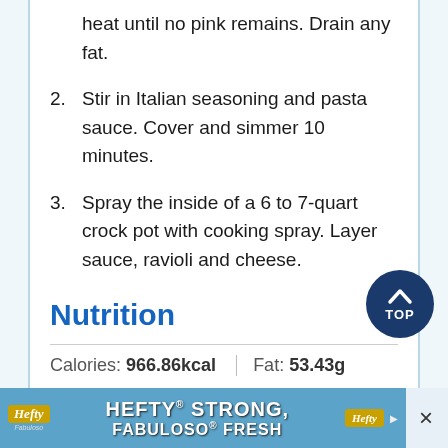heat until no pink remains. Drain any fat.
2. Stir in Italian seasoning and pasta sauce. Cover and simmer 10 minutes.
3. Spray the inside of a 6 to 7-quart crock pot with cooking spray. Layer sauce, ravioli and cheese.
4. Repeat layers ending with cheese. Cover and cook on Low 3 to 4 hours.
Nutrition
Calories: 966.86kcal | Fat: 53.43g